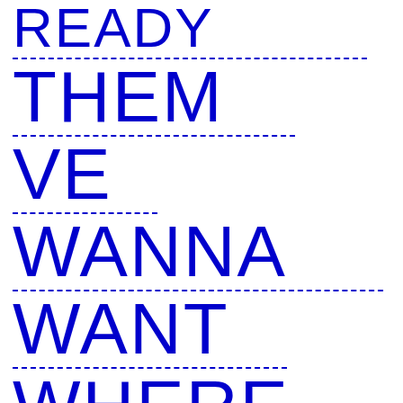READY
THEM
VE
WANNA
WANT
WHERE
WHY